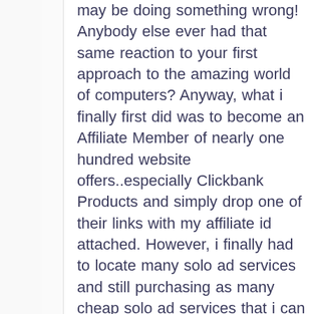may be doing something wrong! Anybody else ever had that same reaction to your first approach to the amazing world of computers? Anyway, what i finally first did was to become an Affiliate Member of nearly one hundred website offers..especially Clickbank Products and simply drop one of their links with my affiliate id attached. However, i finally had to locate many solo ad services and still purchasing as many cheap solo ad services that i can get my hands on oh and i already have subscribed to atleast 20 so far and soon i will try to start sending out